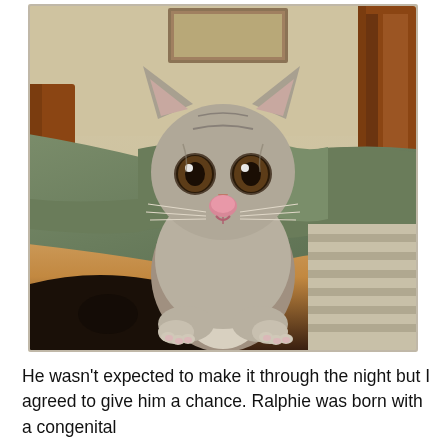[Figure (photo): A small grey tabby kitten with big brown eyes and a pink nose, sitting upright on a bed with rumpled green and striped blankets. A wooden headboard is visible in the background.]
He wasn't expected to make it through the night but I agreed to give him a chance. Ralphie was born with a congenital